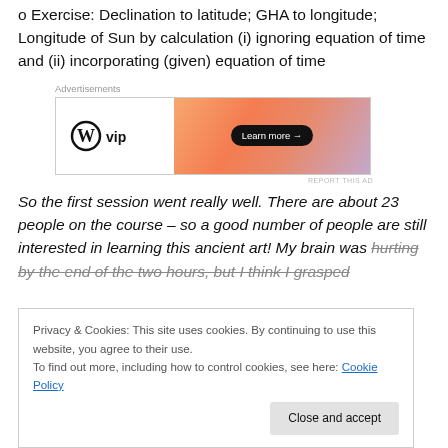o Exercise: Declination to latitude; GHA to longitude; Longitude of Sun by calculation (i) ignoring equation of time and (ii) incorporating (given) equation of time
[Figure (other): WordPress VIP advertisement banner with 'Learn more →' button on an orange gradient background]
So the first session went really well. There are about 23 people on the course – so a good number of people are still interested in learning this ancient art! My brain was hurting by the end of the two hours, but I think I grasped
brain dump the things I am learning!
Privacy & Cookies: This site uses cookies. By continuing to use this website, you agree to their use. To find out more, including how to control cookies, see here: Cookie Policy